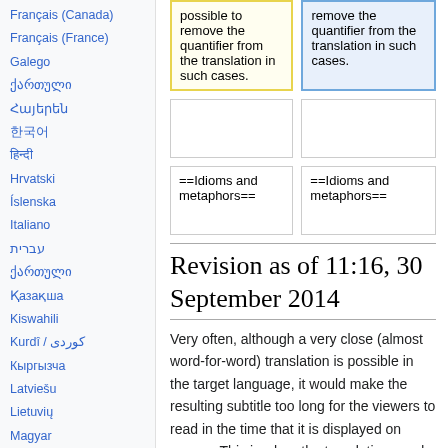Français (Canada)
Français (France)
Galego
ქართული (Georgian script)
Հայերեն
한국어 (Korean)
हिन्दी (Hindi)
Hrvatski
Íslenska
Italiano
עברית (Hebrew)
ქართული
Қазақша
Kiswahili
Kurdî / کوردی
Кыргызча
Latviešu
Lietuvių
Magyar
Македонски
Malagasy
മലയാളം
मराठी
possible to remove the quantifier from the translation in such cases.
remove the quantifier from the translation in such cases.
==Idioms and metaphors==
==Idioms and metaphors==
Revision as of 11:16, 30 September 2014
Very often, although a very close (almost word-for-word) translation is possible in the target language, it would make the resulting subtitle too long for the viewers to read in the time that it is displayed on screen. This is when the translation needs to be "compressed." To compress a subtitle in translation means either not